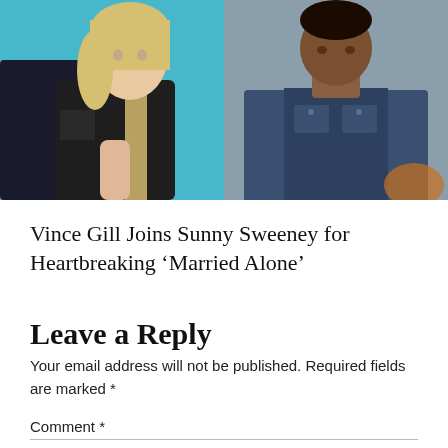[Figure (photo): Two photos side by side: left shows a blonde woman in a dark jacket against a turquoise background; right shows a man in a blue shirt looking down.]
Vince Gill Joins Sunny Sweeney for Heartbreaking ‘Married Alone’
Leave a Reply
Your email address will not be published. Required fields are marked *
Comment *